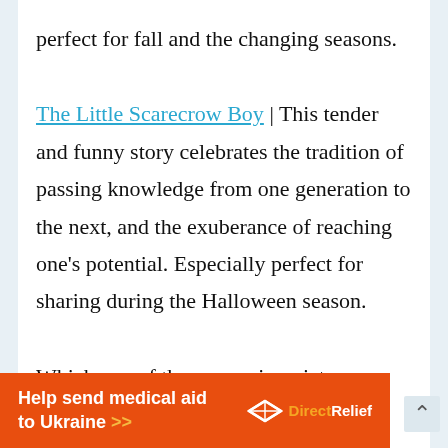perfect for fall and the changing seasons.
The Little Scarecrow Boy | This tender and funny story celebrates the tradition of passing knowledge from one generation to the next, and the exuberance of reaching one's potential. Especially perfect for sharing during the Halloween season.
Which one of these amazing picture
[Figure (infographic): Orange banner advertisement reading 'Help send medical aid to Ukraine >>' with DirectRelief logo on the right]